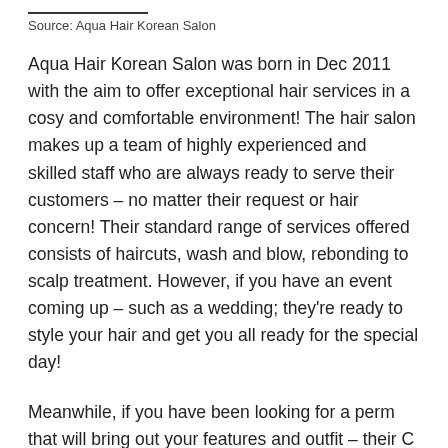Source: Aqua Hair Korean Salon
Aqua Hair Korean Salon was born in Dec 2011 with the aim to offer exceptional hair services in a cosy and comfortable environment! The hair salon makes up a team of highly experienced and skilled staff who are always ready to serve their customers – no matter their request or hair concern! Their standard range of services offered consists of haircuts, wash and blow, rebonding to scalp treatment. However, if you have an event coming up – such as a wedding; they're ready to style your hair and get you all ready for the special day!
Meanwhile, if you have been looking for a perm that will bring out your features and outfit – their C and S-curl perms are two of their signature services that are associated to the Aqua Hair Korean Salon